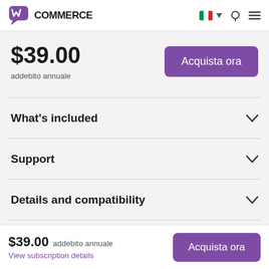[Figure (logo): WooCommerce logo with purple speech bubble icon and bold black COMMERCE text]
$39.00
addebito annuale
Acquista ora
What's included
Support
Details and compatibility
$39.00 addebito annuale
View subscription details
Acquista ora